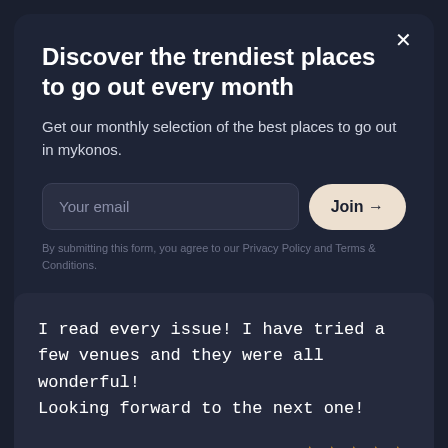Discover the trendiest places to go out every month
Get our monthly selection of the best places to go out in mykonos.
Your email
Join →
By submitting this form, you agree to our Privacy Policy and Terms & Conditions.
I read every issue! I have tried a few venues and they were all wonderful! Looking forward to the next one!
Clara, 8/21/2022 ★★★★★